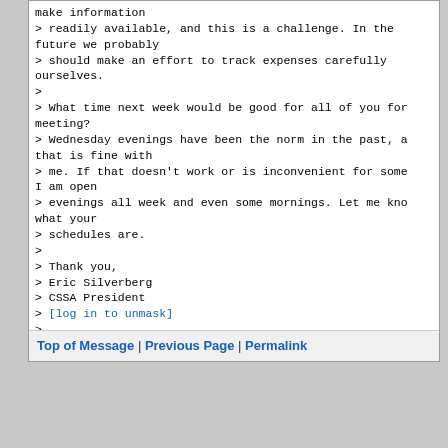make information
> readily available, and this is a challenge. In the future we probably
> should make an effort to track expenses carefully ourselves.
>
> What time next week would be good for all of you for meeting?
> Wednesday evenings have been the norm in the past, and that is fine with
> me. If that doesn't work or is inconvenient for some I am open
> evenings all week and even some mornings. Let me know what your
> schedules are.
>
> Thank you,
> Eric Silverberg
> CSSA President
> [log in to unmask]
>
Top of Message | Previous Page | Permalink